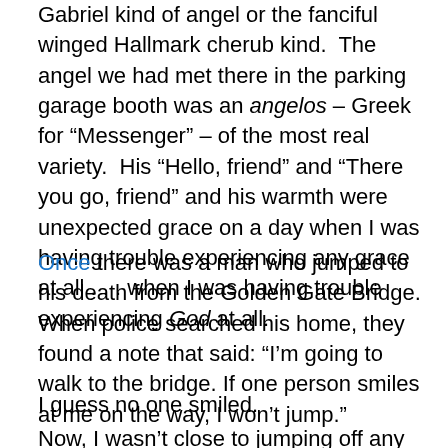Gabriel kind of angel or the fanciful winged Hallmark cherub kind.  The angel we had met there in the parking garage booth was an angelos – Greek for “Messenger” – of the most real variety.  His “Hello, friend” and “There you go, friend” and his warmth were unexpected grace on a day when I was having trouble experiencing any grace at all . . . when I was having trouble experiencing God at all.
Once there was a man who jumped to his death from the Golden Gate Bridge.  When police searched his home, they found a note that said: “I’m going to walk to the bridge. If one person smiles at me on the way, I won’t jump.”
I guess no one smiled.
Now, I wasn’t close to jumping off any bridges on Monday. But I thank God for that angel in the parking garage booth